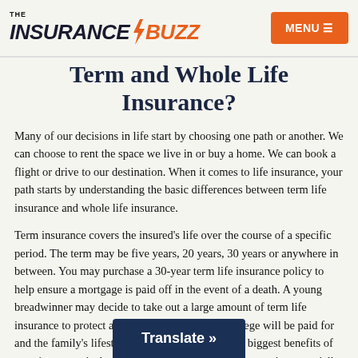THE INSURANCE BUZZ | MENU
Term and Whole Life Insurance?
Many of our decisions in life start by choosing one path or another. We can choose to rent the space we live in or buy a home. We can book a flight or drive to our destination. When it comes to life insurance, your path starts by understanding the basic differences between term life insurance and whole life insurance.
Term insurance covers the insured's life over the course of a specific period. The term may be five years, 20 years, 30 years or anywhere in between. You may purchase a 30-year term life insurance policy to help ensure a mortgage is paid off in the event of a death. A young breadwinner may decide to take out a large amount of term life insurance to protect a young family, ensuring college will be paid for and the family's lifestyle can continue. One of the biggest benefits of term insurance is that it is relatively inexpensive to acquire, especially at younger ages. The downside is that the policies expire at the end of the term and coverage... is usually no cash